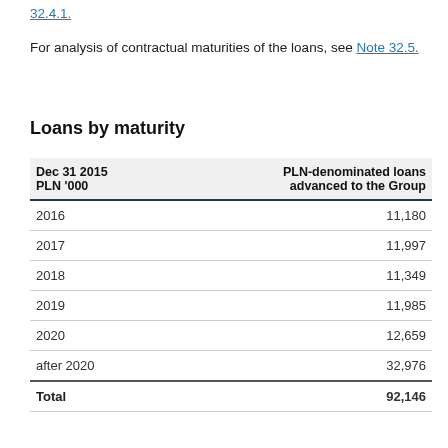32.4.1.
For analysis of contractual maturities of the loans, see Note 32.5.
Loans by maturity
| Dec 31 2015
PLN '000 | PLN-denominated loans advanced to the Group |
| --- | --- |
| 2016 | 11,180 |
| 2017 | 11,997 |
| 2018 | 11,349 |
| 2019 | 11,985 |
| 2020 | 12,659 |
| after 2020 | 32,976 |
| Total | 92,146 |